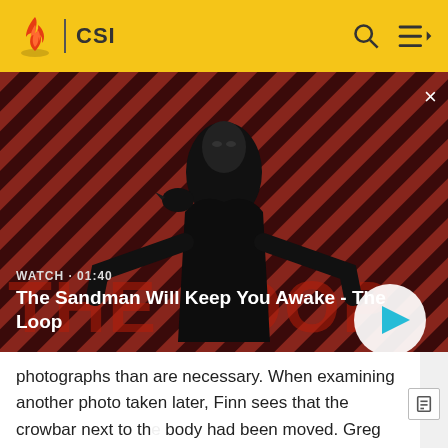CSI
[Figure (screenshot): Video thumbnail for 'The Sandman Will Keep You Awake - The Loop' showing a dark figure with a crow on their shoulder against a red and black diagonal striped background. WATCH · 01:40 label and play button visible.]
WATCH · 01:40
The Sandman Will Keep You Awake - The Loop
photographs than are necessary. When examining another photo taken later, Finn sees that the crowbar next to the body had been moved. Greg was alone in the house at the time, and 25 minutes earlier, he had received Gus' reference blood sample.